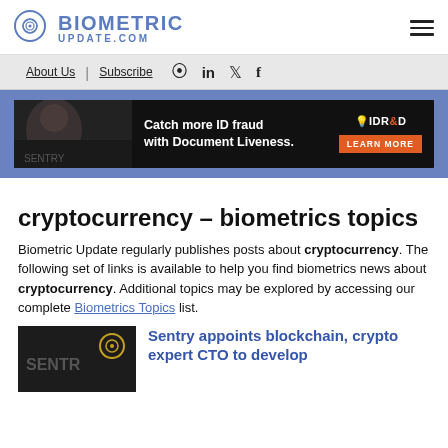BIOMETRIC UPDATE.COM
About Us | Subscribe
[Figure (screenshot): Advertisement banner: Catch more ID fraud with Document Liveness. IDR&D Learn More button.]
cryptocurrency – biometrics topics
Biometric Update regularly publishes posts about cryptocurrency. The following set of links is available to help you find biometrics news about cryptocurrency. Additional topics may be explored by accessing our complete Biometrics Topics list.
[Figure (photo): Sentry logo on dark background]
Sentry appoints blockchain, crypto expert CTO to develop